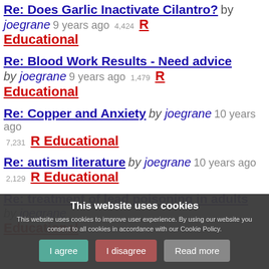Re: Does Garlic Inactivate Cilantro? by joegrane 9 years ago 4,424 R Educational
Re: Blood Work Results - Need advice by joegrane 9 years ago 1,479 R Educational
Re: Copper and Anxiety by joegrane 10 years ago 7,231 R Educational
Re: autism literature by joegrane 10 years ago 2,129 R Educational
Re: treatment of lead poisoning in adults by joegrane Educational
This website uses cookies. This website uses cookies to improve user experience. By using our website you consent to all cookies in accordance with our Cookie Policy.